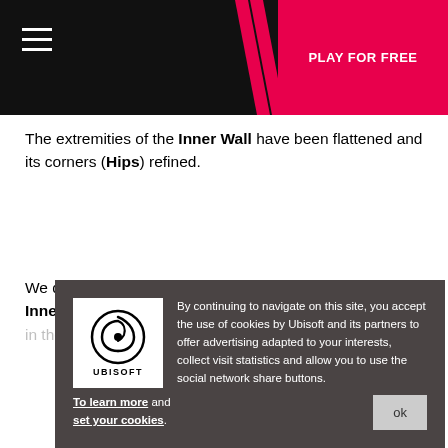PLAY FOR FREE
The extremities of the Inner Wall have been flattened and its corners (Hips) refined.
We did improve navigation on, around, and across the Inner Wall, while also adding new Skatepark ingredients in the form of a narrow half-pipe.
[Figure (other): Cookie consent overlay with Ubisoft logo and text: By continuing to navigate on this site, you accept the use of cookies by Ubisoft and its partners to offer advertising adapted to your interests, collect visit statistics and allow you to use the social network share buttons. To learn more and set your cookies.]